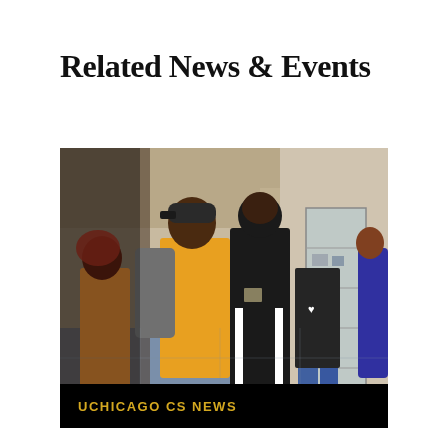Related News & Events
[Figure (photo): Group of students standing in a hallway or building lobby, looking at a glass display case. One student wears a yellow shirt and carries a backpack. Others wear dark clothing. A person leans over the display case on the right side.]
UCHICAGO CS NEWS